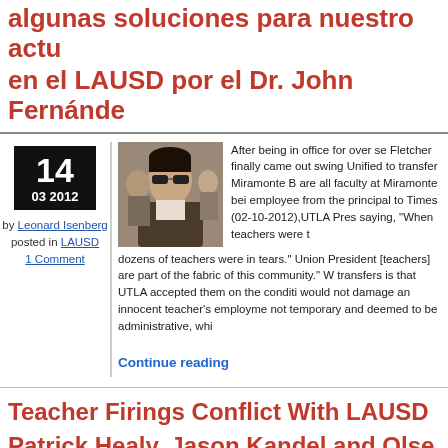algunas soluciones para nuestro actu en el LAUSD por el Dr. John Fernánde
[Figure (photo): Black and white photo of Dr. John Fernández wearing sunglasses and a suit jacket]
After being in office for over se Fletcher finally came out swing Unified to transfer Miramonte B are all faculty at Miramonte bei employee from the principal to Times (02-10-2012),UTLA Pres saying, "When teachers were t dozens of teachers were in tears." Union President [ teachers] are part of the fabric of this community." W transfers is that UTLA accepted them on the conditi would not damage an innocent teacher's employme not temporary and deemed to be administrative, whi
14
03 2012
by Leonard Isenberg
posted in LAUSD
1 Comment
Continue reading
Teacher Firings Conflict With LAUSD Patrick Healy, Jason Kandel and Olse